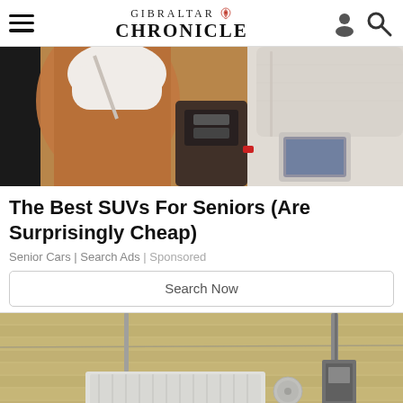GIBRALTAR CHRONICLE
[Figure (photo): Luxury car interior showing white and brown leather seats from rear passenger perspective]
The Best SUVs For Seniors (Are Surprisingly Cheap)
Senior Cars | Search Ads | Sponsored
Search Now
[Figure (photo): Exterior view of a building wall with HVAC unit and electrical pole/meter]